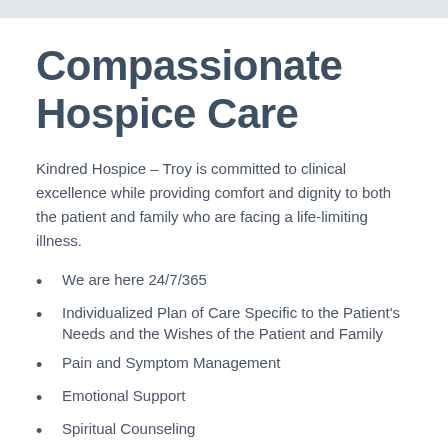Compassionate Hospice Care
Kindred Hospice – Troy is committed to clinical excellence while providing comfort and dignity to both the patient and family who are facing a life-limiting illness.
We are here 24/7/365
Individualized Plan of Care Specific to the Patient's Needs and the Wishes of the Patient and Family
Pain and Symptom Management
Emotional Support
Spiritual Counseling
We Honor Veterans
National Hospital Avoidance Program
Bereavement Program